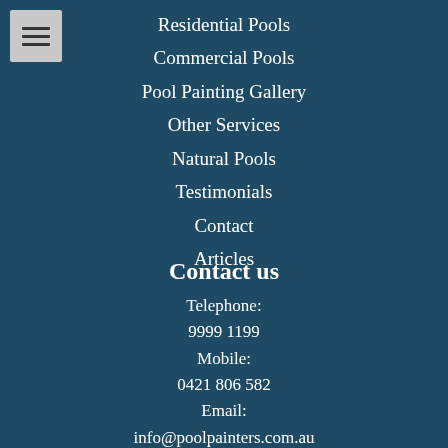[Figure (other): Hamburger menu icon button with three horizontal lines on a grey background]
Residential Pools
Commercial Pools
Pool Painting Gallery
Other Services
Natural Pools
Testimonials
Contact
Articles
Contact us
Telephone:
9999 1199
Mobile:
0421 806 582
Email:
info@poolpainters.com.au
Address: